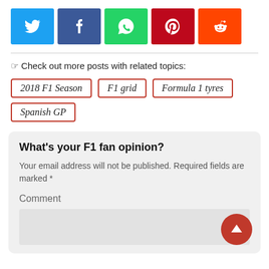[Figure (other): Social share buttons: Twitter (blue), Facebook (dark blue), WhatsApp (green), Pinterest (red), Reddit (orange)]
☞ Check out more posts with related topics:
2018 F1 Season
F1 grid
Formula 1 tyres
Spanish GP
What's your F1 fan opinion?
Your email address will not be published. Required fields are marked *
Comment